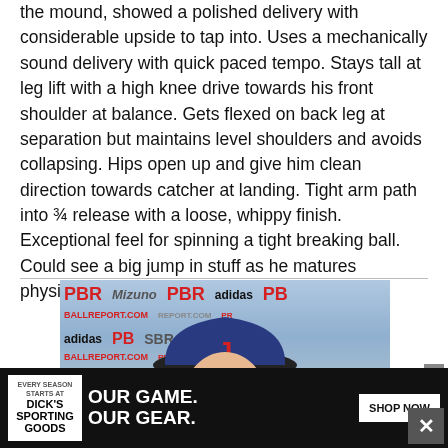the mound, showed a polished delivery with considerable upside to tap into. Uses a mechanically sound delivery with quick paced tempo. Stays tall at leg lift with a high knee drive towards his front shoulder at balance. Gets flexed on back leg at separation but maintains level shoulders and avoids collapsing. Hips open up and give him clean direction towards catcher at landing. Tight arm path into ¾ release with a loose, whippy finish. Exceptional feel for spinning a tight breaking ball. Could see a big jump in stuff as he matures physically.
[Figure (photo): Young baseball player in a navy cap with a red J logo, smiling in front of a PBR (Pro Baseball Report) branded backdrop with Mizuno and Adidas logos. The player is wearing a grey jersey.]
[Figure (photo): Advertisement banner: Dick's Sporting Goods ad reading 'OUR GAME. OUR GEAR.' with a SHOP NOW button and baseball player in background.]